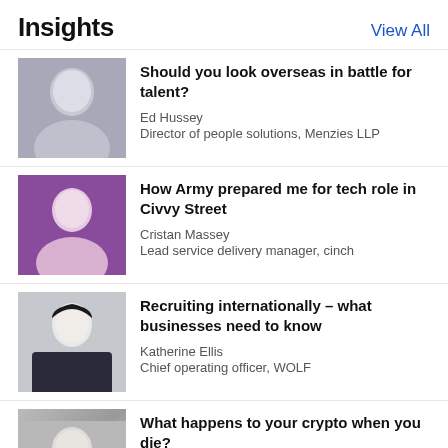Insights
View All
[Figure (photo): Headshot of Ed Hussey, black and white photo of a smiling man in a suit]
Should you look overseas in battle for talent?
Ed Hussey
Director of people solutions, Menzies LLP
[Figure (photo): Color photo of Cristan Massey, a man smiling at an event with purple lighting in background]
How Army prepared me for tech role in Civvy Street
Cristan Massey
Lead service delivery manager, cinch
[Figure (photo): Photo of Katherine Ellis, a woman with dark hair smiling against a light background]
Recruiting internationally – what businesses need to know
Katherine Ellis
Chief operating officer, WOLF
[Figure (photo): Photo of a man in a dark top, partially visible at bottom of page]
What happens to your crypto when you die?